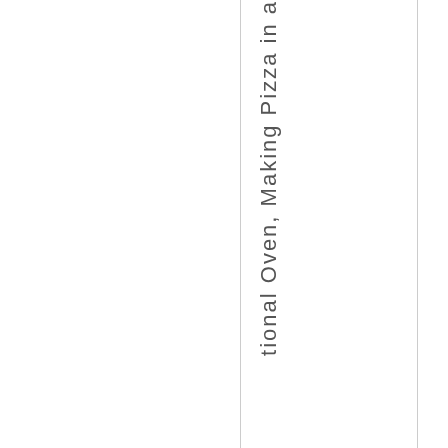tional Oven, Making Pizza in a